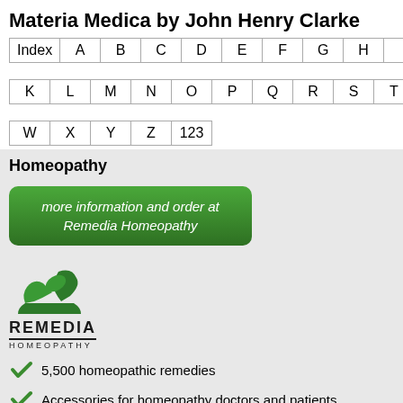Materia Medica by John Henry Clarke
| Index | A | B | C | D | E | F | G | H | I | J |
| K | L | M | N | O | P | Q | R | S | T | U | V |
| W | X | Y | Z | 123 |
Homeopathy
more information and order at Remedia Homeopathy
[Figure (logo): Remedia Homeopathy logo — green mortar and pestle icon above REMEDIA HOMEOPATHY text]
5,500 homeopathic remedies
Accessories for homeopathy doctors and patients